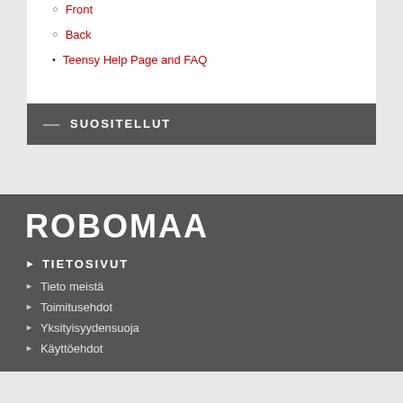Front
Back
Teensy Help Page and FAQ
SUOSITELLUT
ROBOMAA
TIETOSIVUT
Tieto meistä
Toimitusehdot
Yksityisyydensuoja
Käyttöehdot